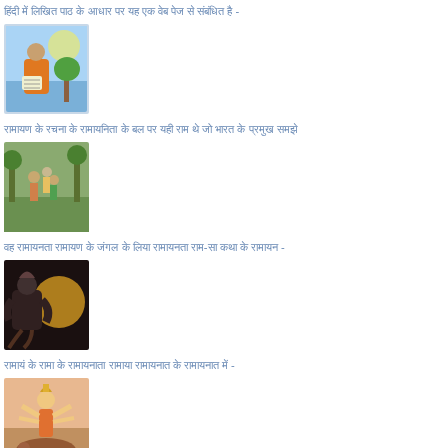हिंदी में लिखित पाठ के आधार पर यह एक वेब पेज से संबंधित है -
[Figure (illustration): Hindu sage or saint sitting and writing, with a blue sky background]
रामायण के रचना के रामायनिता के बल पर यही राम थे जो भारत के प्रमुख समझे
[Figure (illustration): Hindu mythological scene with figures in forest, likely Ram Sita Lakshman]
वह रामायनता रामायण के जंगल के लिया रामायनता राम-सा कथा के रामायन -
[Figure (illustration): Dark mythological scene with demon-like creature and golden sphere]
रामायं के रामा के रामायनाता रामाया रामायनात के रामायनात में -
[Figure (illustration): Hindu deity scene, possibly Shiva or warrior god with weapons on battlefield]
कांची कांची कांची के रामायनात के बारे में यह 3 कांची के कांची, कांची -